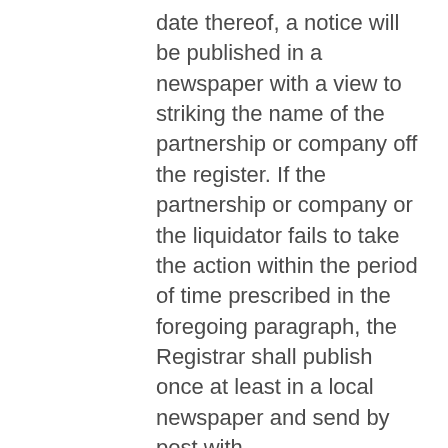date thereof, a notice will be published in a newspaper with a view to striking the name of the partnership or company off the register. If the partnership or company or the liquidator fails to take the action within the period of time prescribed in the foregoing paragraph, the Registrar shall publish once at least in a local newspaper and send by post with acknowledgement of receipt to the partnership or company and the liquidator notice that at the expiration of ninety days from the date of sending of that notice the name of the partnership or